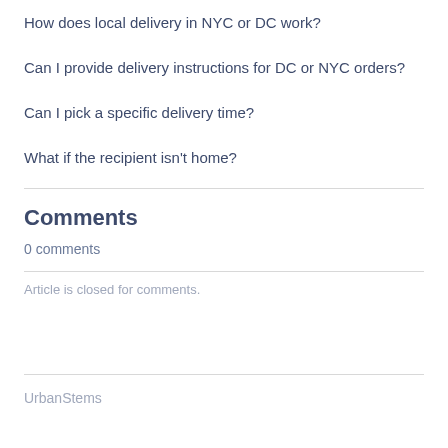How does local delivery in NYC or DC work?
Can I provide delivery instructions for DC or NYC orders?
Can I pick a specific delivery time?
What if the recipient isn't home?
Comments
0 comments
Article is closed for comments.
UrbanStems